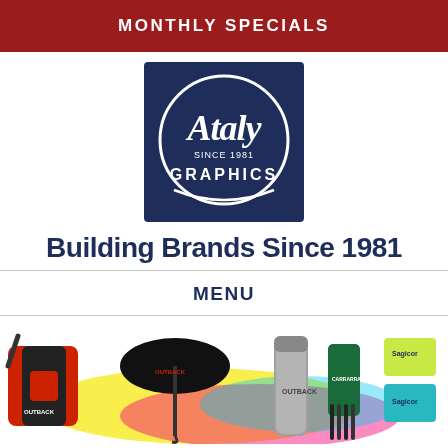MONTHLY SPECIALS
[Figure (logo): Ataly Graphics logo — white script text 'Ataly' with 'Since 1981' and 'GRAPHICS' inside a circular ring, on a dark navy blue square background.]
Building Brands Since 1981
MENU
[Figure (photo): A collection of promotional branded merchandise items including a red and black backpack, a black umbrella, a silver tumbler, a green koozie, pens, and branded soap/lotion sets by Sagicor, all arranged on a white background with colorful paint splashes in yellow, magenta, and cyan.]